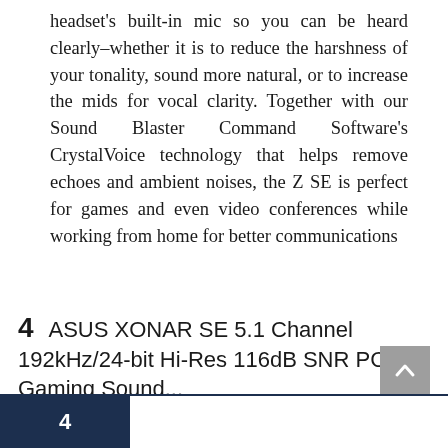headset's built-in mic so you can be heard clearly–whether it is to reduce the harshness of your tonality, sound more natural, or to increase the mids for vocal clarity. Together with our Sound Blaster Command Software's CrystalVoice technology that helps remove echoes and ambient noises, the Z SE is perfect for games and even video conferences while working from home for better communications
4  ASUS XONAR SE 5.1 Channel 192kHz/24-bit Hi-Res 116dB SNR PCIe Gaming Sound...
4